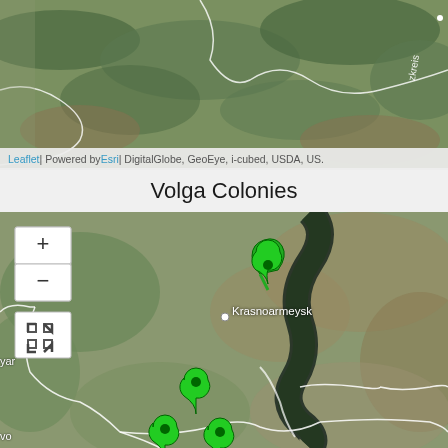[Figure (map): Satellite aerial map showing a region with river, white boundary outlines, partial text labels 'zkreis', 'burg' visible at top edge]
Leaflet | Powered by Esri | DigitalGlobe, GeoEye, i-cubed, USDA, US...
Volga Colonies
[Figure (map): Satellite map showing Volga river region with green location pin markers, city label 'Krasnoarmeysk' with dot, partial labels 'yar' and 'vo' on left edge, white boundary outlines, zoom controls and fullscreen button on top-left]